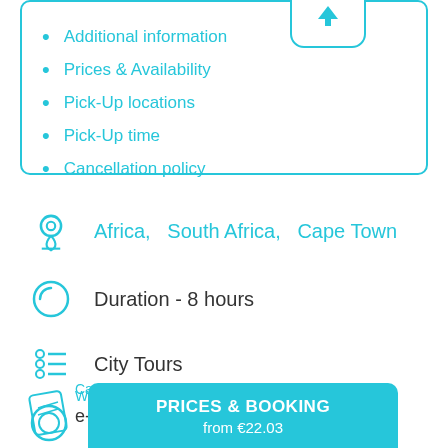Additional information
Prices & Availability
Pick-Up locations
Pick-Up time
Cancellation policy
Africa,   South Africa,   Cape Town
Duration - 8 hours
City Tours
What's this?
e-Voucher, Printed Voucher
Ca...
PRICES & BOOKING
from €22.03